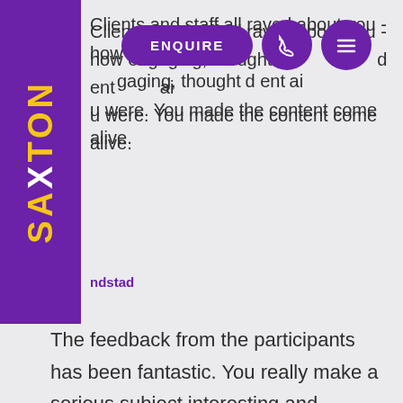[Figure (logo): Saxton Speakers Bureau vertical purple logo with yellow and white text]
Clients and staff all raved about you - how engaging, thoughtful and entertaining you were. You made the content come alive.
ndstad
The feedback from the participants has been fantastic. You really make a serious subject interesting and engaging!
Wesfarmers Insurance